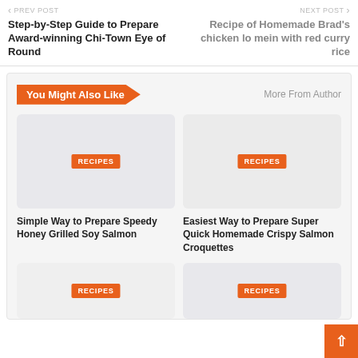← PREV POST | NEXT POST →
Step-by-Step Guide to Prepare Award-winning Chi-Town Eye of Round
Recipe of Homemade Brad's chicken lo mein with red curry rice
You Might Also Like
More From Author
[Figure (photo): Placeholder image for Simple Way to Prepare Speedy Honey Grilled Soy Salmon recipe card with RECIPES badge]
Simple Way to Prepare Speedy Honey Grilled Soy Salmon
[Figure (photo): Placeholder image for Easiest Way to Prepare Super Quick Homemade Crispy Salmon Croquettes recipe card with RECIPES badge]
Easiest Way to Prepare Super Quick Homemade Crispy Salmon Croquettes
[Figure (photo): Third recipe card placeholder with RECIPES badge]
[Figure (photo): Fourth recipe card placeholder with RECIPES badge]